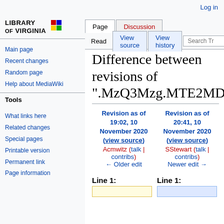Log in
[Figure (logo): Library of Virginia logo with colored blocks and bold text]
Main page
Recent changes
Random page
Help about MediaWiki
Tools
What links here
Related changes
Special pages
Printable version
Permanent link
Page information
Difference between revisions of ".MzQ3Mzg.MTE2MD
| Revision as of 19:02, 10 November 2020 (view source) | Revision as of 20:41, 10 November 2020 (view source) |
| --- | --- |
| Acmwitz (talk | contribs) | SStewart (talk | contribs) |
| ← Older edit | Newer edit → |
Line 1:
Line 1: